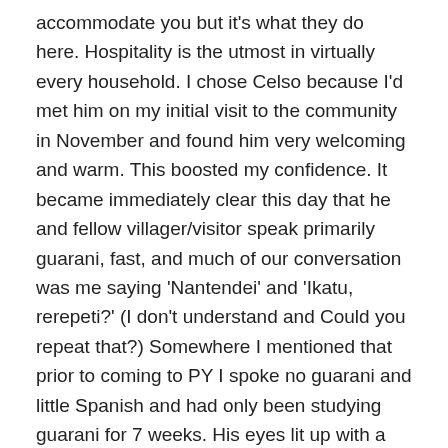accommodate you but it's what they do here. Hospitality is the utmost in virtually every household. I chose Celso because I'd met him on my initial visit to the community in November and found him very welcoming and warm. This boosted my confidence. It became immediately clear this day that he and fellow villager/visitor speak primarily guarani, fast, and much of our conversation was me saying 'Nantendei' and 'Ikatu, rerepeti?' (I don't understand and Could you repeat that?) Somewhere I mentioned that prior to coming to PY I spoke no guarani and little Spanish and had only been studying guarani for 7 weeks. His eyes lit up with a new understanding and suddenly he realized how much I've accomplished in very little time. The magic moment came after a while when I realized he had changed the way he spoke to me to accommodate my language skills. Not only was he